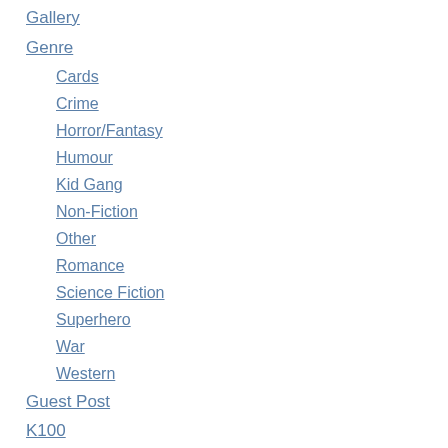Gallery
Genre
Cards
Crime
Horror/Fantasy
Humour
Kid Gang
Non-Fiction
Other
Romance
Science Fiction
Superhero
War
Western
Guest Post
K100
Links
Museum News
New Kirby